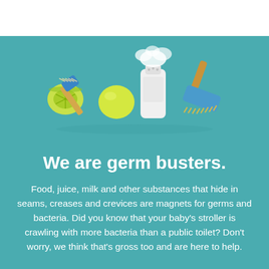[Figure (photo): Photo of cleaning supplies on a teal background: a small brush with blue handle and natural bristles (half lime beside it), a yellow-green whole lime/lemon, a white powder shaker bottle with powder spilling out, and a larger scrub brush with wooden handle and yellow bristles. Arranged diagonally on a teal/turquoise background.]
We are germ busters.
Food, juice, milk and other substances that hide in seams, creases and crevices are magnets for germs and bacteria. Did you know that your baby's stroller is crawling with more bacteria than a public toilet? Don't worry, we think that's gross too and are here to help.